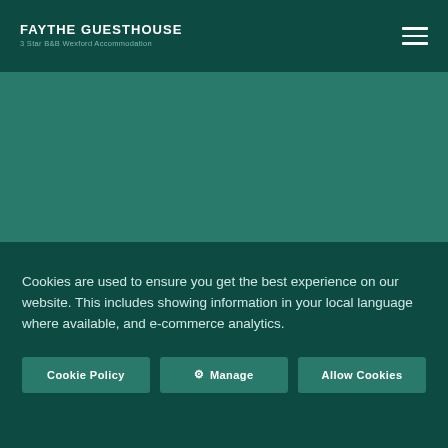Faythe Guesthouse — 3 Star B&B Wexford Accommodation
Cookies are used to ensure you get the best experience on our website. This includes showing information in your local language where available, and e-commerce analytics.
Cookie Policy
Manage
Allow Cookies